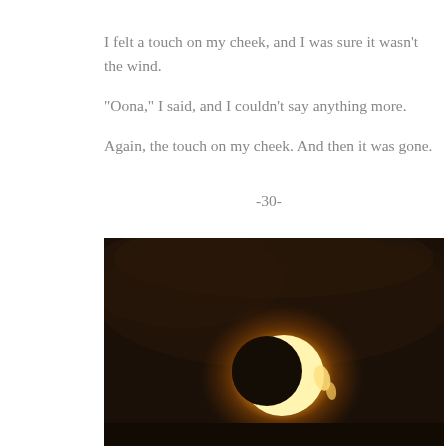I felt a touch on my cheek, and I was sure it wasn't the wind.
“Oona,” I said, and I couldn’t say anything more.
Again, the touch on my cheek. And then it was gone.
-30-
[Figure (photo): A photograph of a partial solar eclipse against a dark sky, showing a bright crescent of the sun with golden-orange glowing light around it.]